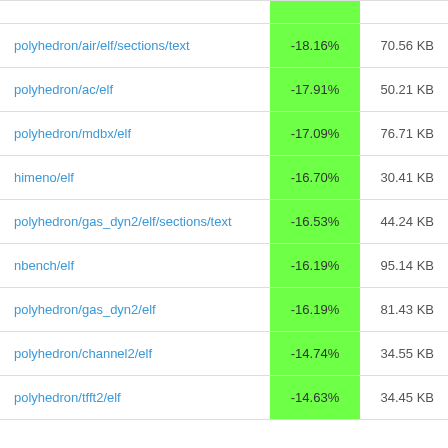|  |  |  |
| --- | --- | --- |
| polyhedron/air/elf/sections/text | -18.16% | 70.56 KB |
| polyhedron/ac/elf | -17.91% | 50.21 KB |
| polyhedron/mdbx/elf | -17.09% | 76.71 KB |
| himeno/elf | -16.70% | 30.41 KB |
| polyhedron/gas_dyn2/elf/sections/text | -16.53% | 44.24 KB |
| nbench/elf | -16.19% | 95.14 KB |
| polyhedron/gas_dyn2/elf | -16.19% | 81.43 KB |
| polyhedron/channel2/elf | -14.74% | 34.55 KB |
| polyhedron/tfft2/elf | -14.63% | 34.45 KB |